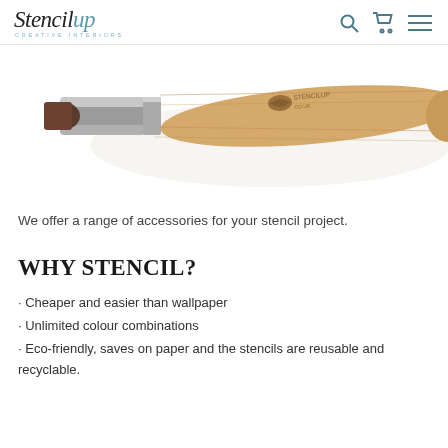Stencilup CREATIVE INTERIORS
[Figure (photo): Close-up photo of a wooden-handled stencil brush tool with metal ferrule, branded with StencilUp.co.uk logo, on white background]
We offer a range of accessories for your stencil project.
WHY STENCIL?
Cheaper and easier than wallpaper
Unlimited colour combinations
Eco-friendly, saves on paper and the stencils are reusable and recyclable.